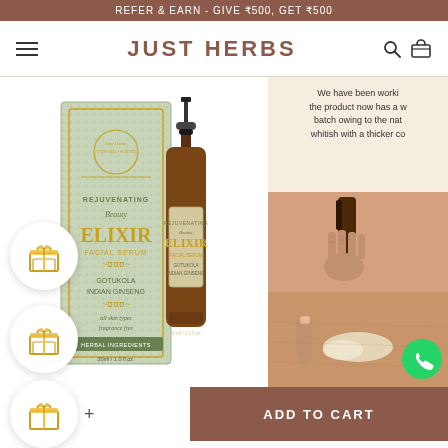REFER & EARN - GIVE ₹500, GET ₹500
JUST HERBS
[Figure (photo): Just Herbs Rejuvenating Beauty Elixir Facial Serum product box and bottle with pump dispenser]
We have been worki... the product now has a w... batch owing to the nat... whitish with a thicker co...
[Figure (photo): Hand holding pump bottle of Just Herbs serum]
[Figure (photo): Skin application of Just Herbs serum with cream texture visible]
ADD TO CART